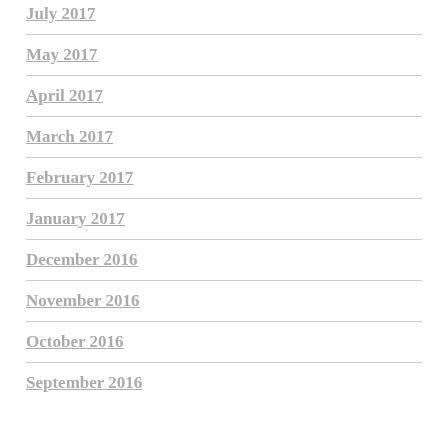July 2017
May 2017
April 2017
March 2017
February 2017
January 2017
December 2016
November 2016
October 2016
September 2016